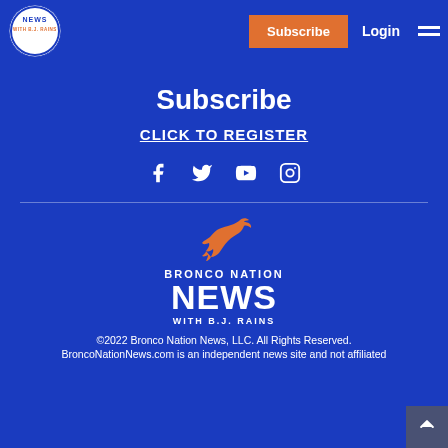Bronco Nation News with B.J. Rains — Subscribe | Login
Subscribe
CLICK TO REGISTER
[Figure (logo): Social media icons: Facebook, Twitter, YouTube, Instagram]
[Figure (logo): Bronco Nation News with B.J. Rains logo — orange running bronco icon above text BRONCO NATION NEWS WITH B.J. RAINS]
©2022 Bronco Nation News, LLC. All Rights Reserved. BroncoNationNews.com is an independent news site and not affiliated